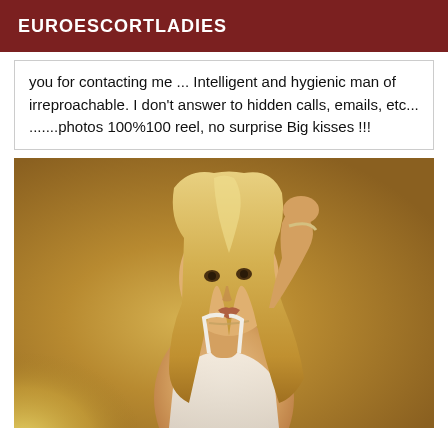EUROESCORTLADIES
you for contacting me ... Intelligent and hygienic man of irreproachable. I don't answer to hidden calls, emails, etc... .......photos 100%100 reel, no surprise Big kisses !!!
[Figure (photo): A blonde woman posing, hand raised to head, wearing a white top, photographed against a warm brown/golden background]